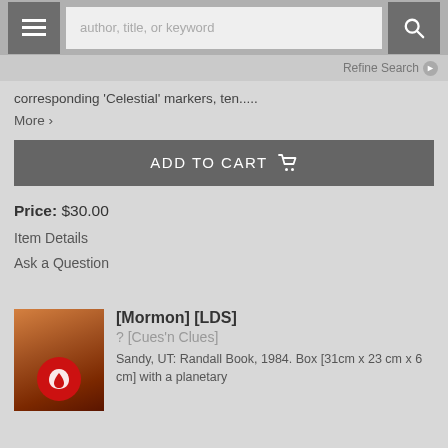author, title, or keyword
corresponding 'Celestial' markers, ten..... More >
ADD TO CART
Price: $30.00
Item Details
Ask a Question
[Mormon] [LDS]
? [Cues'n Clues]
Sandy, UT: Randall Book, 1984. Box [31cm x 23 cm x 6 cm] with a planetary